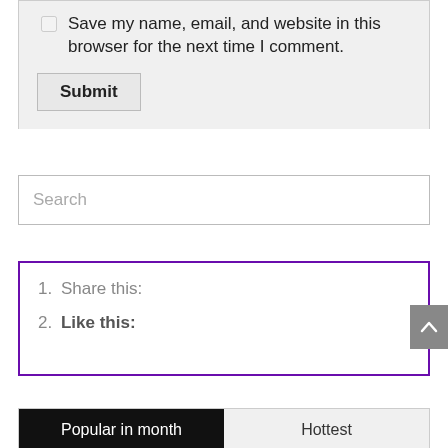Save my name, email, and website in this browser for the next time I comment.
Submit
Search
1. Share this:
2. Like this:
Popular in month
Hottest
0° GST PLACE oF SUPPLY FINDER(tool)